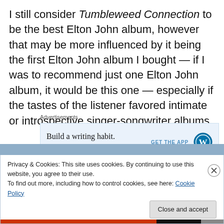I still consider Tumbleweed Connection to be the best Elton John album, however that may be more influenced by it being the first Elton John album I bought — if I was to recommend just one Elton John album, it would be this one — especially if the tastes of the listener favored intimate or introspective singer-songwriter albums.
Advertisements
[Figure (screenshot): WordPress advertisement banner: 'Build a writing habit. Post on the go.' with GET THE APP button and WordPress logo]
Privacy & Cookies: This site uses cookies. By continuing to use this website, you agree to their use.
To find out more, including how to control cookies, see here: Cookie Policy
Close and accept